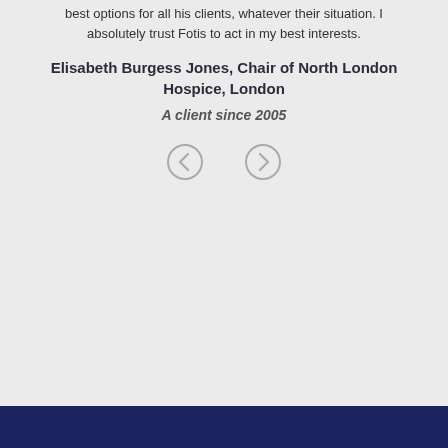best options for all his clients, whatever their situation. I absolutely trust Fotis to act in my best interests.
Elisabeth Burgess Jones, Chair of North London Hospice, London
A client since 2005
[Figure (other): Navigation arrows: left chevron and right chevron buttons]